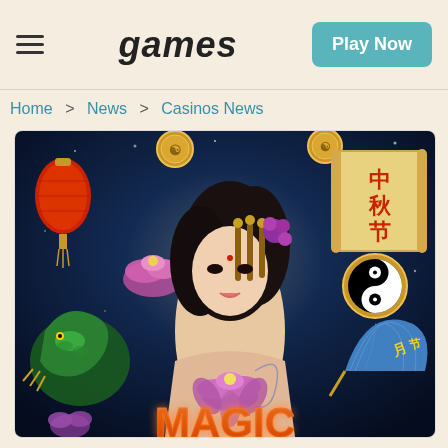Games
Home > News > Casinos News
[Figure (illustration): Casino slot game promotional artwork showing a beautiful Asian woman with dark hair adorned with gold and flower accessories, holding a pink lotus flower. She has a dragon tattoo on her back. Surrounding her are Asian-themed symbols: a green dragon, yin-yang medallions, a red Chinese lantern, pink water lilies, a decorative fan with Chinese writing, a scroll with Chinese characters (中秋节), and the word MAGIC in orange metallic letters at the bottom. The background is dark blue.]